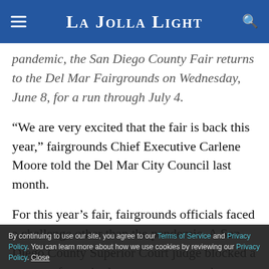La Jolla Light
pandemic, the San Diego County Fair returns to the Del Mar Fairgrounds on Wednesday, June 8, for a run through July 4.
“We are very excited that the fair is back this year,” fairgrounds Chief Executive Carlene Moore told the Del Mar City Council last month.
For this year’s fair, fairgrounds officials faced a challenge other than the pandemic. A San Diego County Superior Court judge blocked a contract for a single company to run the midway because of allegations that the bidding process was rigged in favor of that company, Ray Gammack Shows. The fair will need
By continuing to use our site, you agree to our Terms of Service and Privacy Policy. You can learn more about how we use cookies by reviewing our Privacy Policy. Close